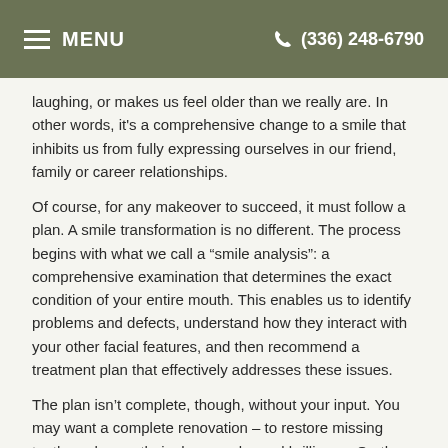MENU   (336) 248-6790
laughing, or makes us feel older than we really are. In other words, it's a comprehensive change to a smile that inhibits us from fully expressing ourselves in our friend, family or career relationships.
Of course, for any makeover to succeed, it must follow a plan. A smile transformation is no different. The process begins with what we call a “smile analysis”: a comprehensive examination that determines the exact condition of your entire mouth. This enables us to identify problems and defects, understand how they interact with your other facial features, and then recommend a treatment plan that effectively addresses these issues.
The plan isn’t complete, though, without your input. You may want a complete renovation – to restore missing teeth or change their shape, color and brilliance. On the other hand, you may be more comfortable with a few subtle changes, perhaps even keeping slight imperfections that you see as part of the real “you.” Whichever path you take, the end result is a smile that makes you happy, and proud to show to others.